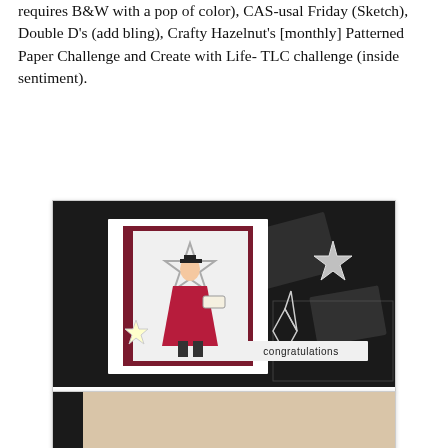requires B&W with a pop of color), CAS-usal Friday (Sketch), Double D's (add bling), Crafty Hazelnut's [monthly] Patterned Paper Challenge and Create with Life- TLC challenge (inside sentiment).
[Figure (photo): A handmade graduation congratulations card featuring a girl in a red graduation gown and cap, holding a diploma, with star embellishments and a 'congratulations' banner. The card has a black patterned background with grey graduation cap motifs, and silver star embellishments.]
[Figure (photo): Partial view of another handmade card, showing a beige/cream background with a dark border at the left edge.]